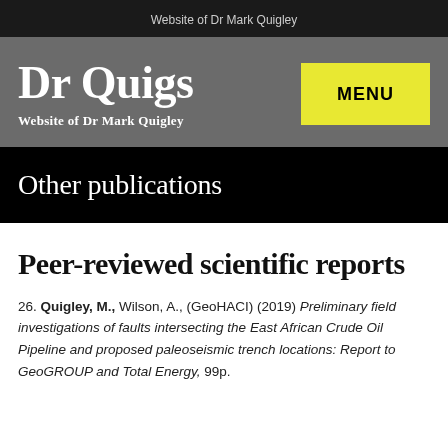Website of Dr Mark Quigley
Dr Quigs
Website of Dr Mark Quigley
Other publications
Peer-reviewed scientific reports
26. Quigley, M., Wilson, A., (GeoHACI) (2019) Preliminary field investigations of faults intersecting the East African Crude Oil Pipeline and proposed paleoseismic trench locations: Report to GeoGROUP and Total Energy, 99p.